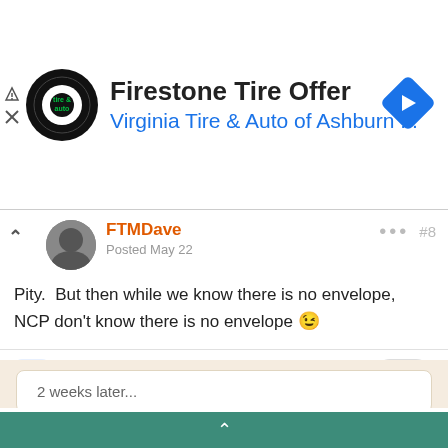[Figure (screenshot): Ad banner for Firestone Tire Offer from Virginia Tire & Auto of Ashburn with logo and navigation icon]
FTMDave
Posted May 22
Pity.  But then while we know there is no envelope, NCP don't know there is no envelope 😉
2 weeks later...
FTMDave